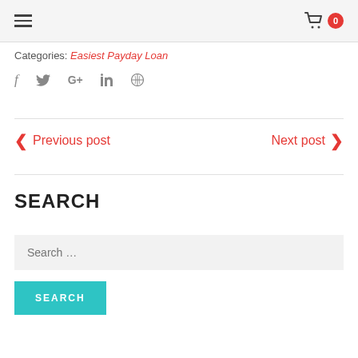Navigation bar with hamburger menu and cart icon with badge 0
Categories: Easiest Payday Loan
[Figure (infographic): Social share icons: Facebook (f), Twitter, Google+, LinkedIn, Pinterest]
< Previous post   Next post >
SEARCH
Search ...
SEARCH